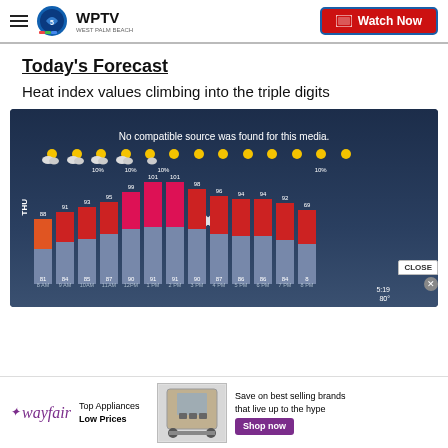WPTV West Palm Beach | Watch Now
Today's Forecast
Heat index values climbing into the triple digits
[Figure (screenshot): Weather forecast video screenshot showing hourly temperature bar chart for Thursday with heat index values. Message reads: No compatible source was found for this media. Bars show temperatures from 8AM to 8PM ranging from 81 to 101 degrees with heat index values shown above. Weather icons show partly cloudy conditions. A female meteorologist is visible on the right side of the screen.]
[Figure (infographic): Wayfair advertisement: Top Appliances Low Prices, Save on best selling brands that live up to the hype, Shop now button]